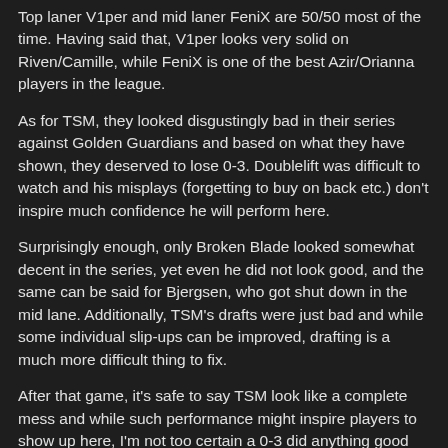Top laner V1per and mid laner FeniX are 50/50 most of the time. Having said that, V1per looks very solid on Riven/Camille, while FeniX is one of the best Azir/Orianna players in the league.
As for TSM, they looked disgustingly bad in their series against Golden Guardians and based on what they have shown, they deserved to lose 0-3. Doublelift was difficult to watch and his misplays (forgetting to buy on back etc.) don't inspire much confidence he will perform here.
Surprisingly enough, only Broken Blade looked somewhat decent in the series, yet even he did not look good, and the same can be said for Bjergsen, who got shut down in the mid lane. Additionally, TSM's drafts were just bad and while some individual slip-ups can be improved, drafting is a much more difficult thing to fix.
After that game, it's safe to say TSM look like a complete mess and while such performance might inspire players to show up here, I'm not too certain a 0-3 did anything good for their morale. If Dignitas manage to win game one, it will likely all come apart for TSM, who are not a team I would say is stable, nor does it have the synergy to